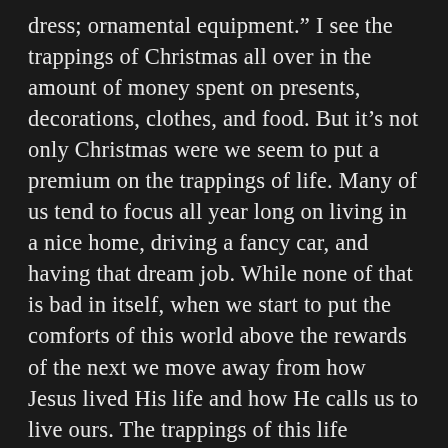dress; ornamental equipment.”  I see the trappings of Christmas all over in the amount of money spent on presents, decorations, clothes, and food.  But it’s not only Christmas were we seem to put a premium on the trappings of life.  Many of us tend to focus all year long on living in a nice home, driving a fancy car, and having that dream job.  While none of that is bad in itself, when we start to put the comforts of this world above the rewards of the next we move away from how Jesus lived His life and how He calls us to live ours.  The trappings of this life literally trap us into living only for this world which amount to absolutely nothing in Jesus’ Heavenly kingdom.